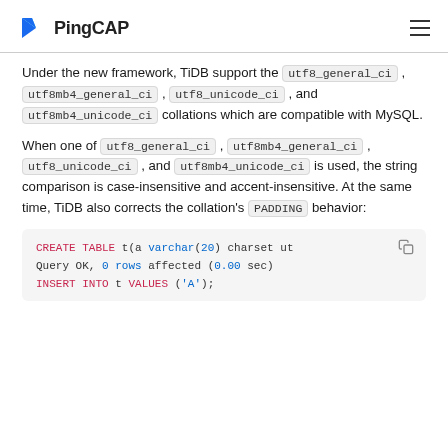PingCAP
Under the new framework, TiDB support the utf8_general_ci, utf8mb4_general_ci, utf8_unicode_ci, and utf8mb4_unicode_ci collations which are compatible with MySQL.
When one of utf8_general_ci, utf8mb4_general_ci, utf8_unicode_ci, and utf8mb4_unicode_ci is used, the string comparison is case-insensitive and accent-insensitive. At the same time, TiDB also corrects the collation's PADDING behavior:
[Figure (screenshot): Code block showing SQL statements: CREATE TABLE t(a varchar(20) charset ut..., Query OK, 0 rows affected (0.00 sec), INSERT INTO t VALUES ('A');]